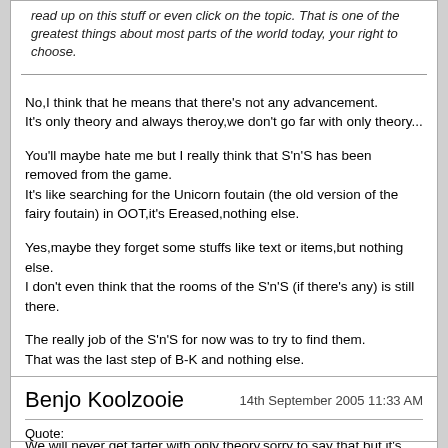read up on this stuff or even click on the topic. That is one of the greatest things about most parts of the world today, your right to choose.
No,I think that he means that there's not any advancement.
It's only theory and always theroy,we don't go far with only theory...

You'll maybe hate me but I really think that S'n'S has been removed from the game.
It's like searching for the Unicorn foutain (the old version of the fairy foutain) in OOT,it's Ereased,nothing else.

Yes,maybe they forget some stuffs like text or items,but nothing else.
I don't even think that the rooms of the S'n'S (if there's any) is still there.

The really job of the S'n'S for now was to try to find them.
That was the last step of B-K and nothing else.

Well yes,maybe in the past,there was a link beetween B-K and B-T and even D-K but now there's nothing.

We will never get farter with only theory,sorry to say that but it's true.
Benjo Koolzooie
14th September 2005 11:33 AM
Quote: